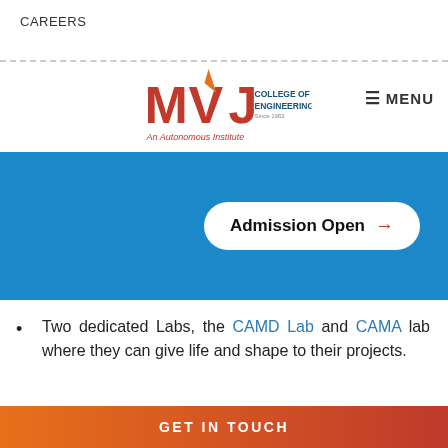CAREERS
[Figure (logo): MVJ College of Engineering logo — An Autonomous Institute]
[Figure (screenshot): Navigation menu button with MENU text]
[Figure (screenshot): Blue banner with Admission Open button and arrow]
Two dedicated Labs, the CAMD Lab and CAMA lab where they can give life and shape to their projects.
A well-equipped Material Testing Lab, where students can get thorough and
GET IN TOUCH